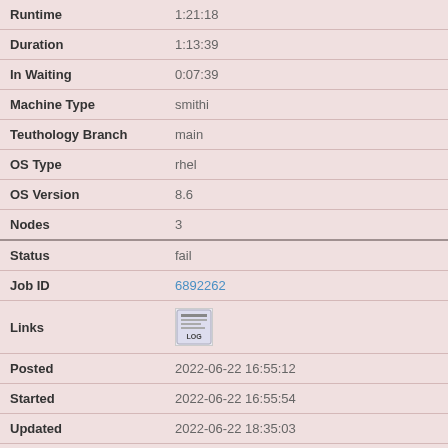| Field | Value |
| --- | --- |
| Runtime | 1:21:18 |
| Duration | 1:13:39 |
| In Waiting | 0:07:39 |
| Machine Type | smithi |
| Teuthology Branch | main |
| OS Type | rhel |
| OS Version | 8.6 |
| Nodes | 3 |
| Status | fail |
| Job ID | 6892262 |
| Links | [LOG icon] |
| Posted | 2022-06-22 16:55:12 |
| Started | 2022-06-22 16:55:54 |
| Updated | 2022-06-22 18:35:03 |
| Runtime | 1:39:09 |